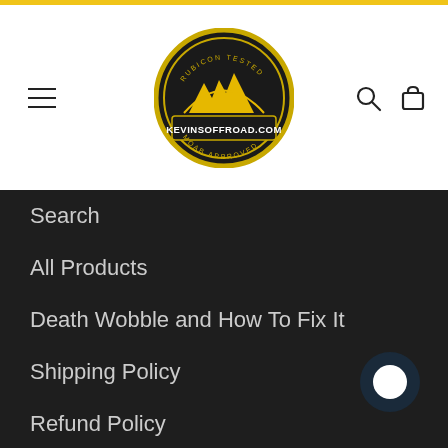[Figure (logo): KevinsOffRoad.com circular logo with gold and black colors, showing desert rock formations]
Search
All Products
Death Wobble and How To Fix It
Shipping Policy
Refund Policy
Privacy Policy
Terms of Service
Blog / News
Reviews & Testimonials
About Us